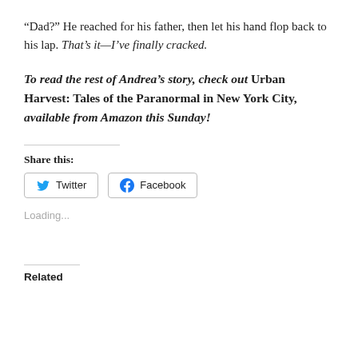“Dad?” He reached for his father, then let his hand flop back to his lap. That’s it—I’ve finally cracked.
To read the rest of Andrea’s story, check out Urban Harvest: Tales of the Paranormal in New York City, available from Amazon this Sunday!
Share this:
Twitter   Facebook
Loading...
Related